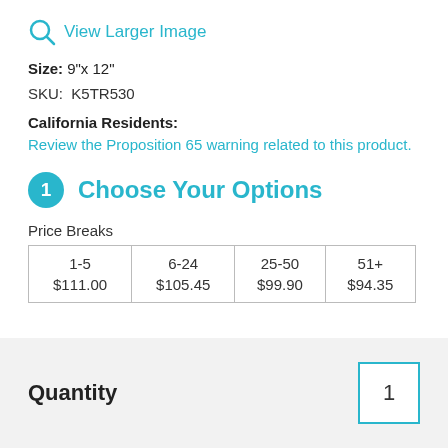View Larger Image
Size: 9"x 12"
SKU: K5TR530
California Residents:
Review the Proposition 65 warning related to this product.
1 Choose Your Options
Price Breaks
| 1-5
$111.00 | 6-24
$105.45 | 25-50
$99.90 | 51+
$94.35 |
Quantity  1